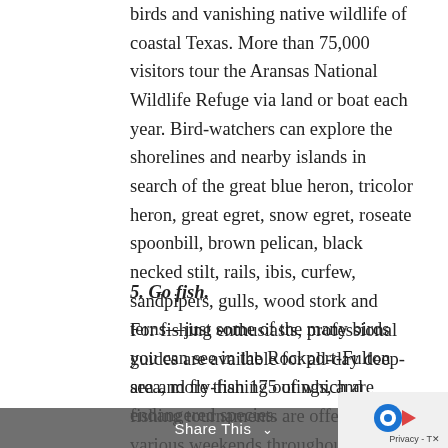birds and vanishing native wildlife of coastal Texas. More than 75,000 visitors tour the Aransas National Wildlife Refuge via land or boat each year. Bird-watchers can explore the shorelines and nearby islands in search of the great blue heron, tricolor heron, great egret, snow egret, roseate spoonbill, brown pelican, black necked stilt, rails, ibis, curfew, sandpipers, gulls, wood stork and terns—just some of the many birds you can see in the Rockport-Fulton area, more than 175 of which are endangered species.
5. Go fish.
For fishing enthusiasts, professional guides are available for all-day deep-sea and fly-fishing outings, and fishing tournaments are offered on various weekends throughout the year. There are also several public piers where you can fish for free.
Share This